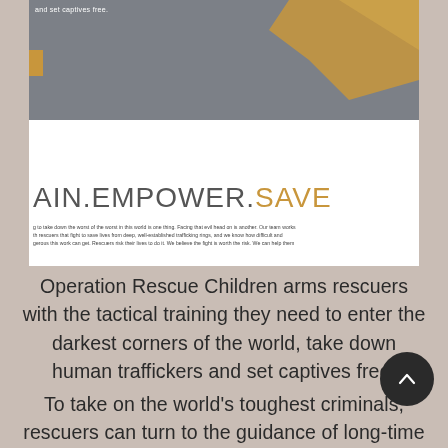[Figure (photo): Dark gray/slate background image with golden abstract shape in top right corner and small gold rectangle on left side. White text 'and set captives free.' visible at top.]
[Figure (screenshot): White panel showing partial text: 'TRAIN.EMPOWER.SAVE' in large sans-serif type where SAVE is in gold/amber color. Below is small body text about rescuers fighting well-established trafficking rings.]
Operation Rescue Children arms rescuers with the tactical training they need to enter the darkest corners of the world, take down human traffickers and set captives free.
To take on the world's toughest criminals, rescuers can turn to the guidance of long-time professionals. Spearheading ORC's tactical training